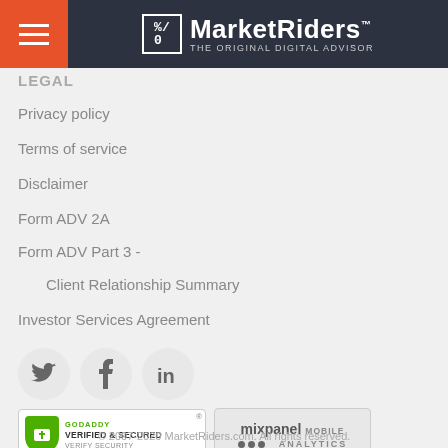MarketRiders — THE ORIGINAL DIGITAL ADVISOR
LEGAL
Privacy policy
Terms of service
Disclaimer
Form ADV 2A
Form ADV Part 3 - Client Relationship Summary
Investor Services Agreement
[Figure (other): Social media icons: Twitter (bird), Facebook (f), LinkedIn (in)]
[Figure (other): GoDaddy Verified & Secured badge and Mixpanel Mobile Analytics badge]
© 2007-2020 MarketRiders.com. All rights reserved.